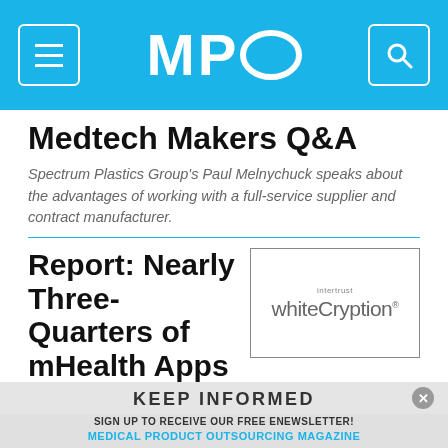MPO
Medtech Makers Q&A
Spectrum Plastics Group's Paul Melnychuck speaks about the advantages of working with a full-service supplier and contract manufacturer.
[Figure (logo): intertrust whiteCryption logo inside a rectangular border]
Report: Nearly Three-Quarters of mHealth Apps Vulnerable to Data Breach
KEEP INFORMED
SIGN UP TO RECEIVE OUR FREE ENEWSLETTER!
MEDICAL PRODUCT OUTSOURCING MAGAZINE